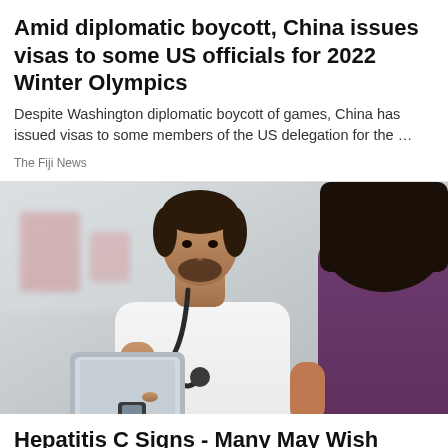Amid diplomatic boycott, China issues visas to some US officials for 2022 Winter Olympics
Despite Washington diplomatic boycott of games, China has issued visas to some members of the US delegation for the …
The Fiji News
[Figure (photo): A male doctor in a white coat with a stethoscope pointing at a tablet screen, consulting with a female patient visible from behind on the right side.]
Hepatitis C Signs - Many May Wish They Saw Them Sooner